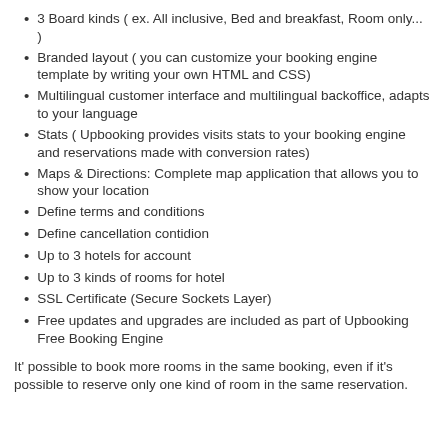3 Board kinds ( ex. All inclusive, Bed and breakfast, Room only... )
Branded layout ( you can customize your booking engine template by writing your own HTML and CSS)
Multilingual customer interface and multilingual backoffice, adapts to your language
Stats ( Upbooking provides visits stats to your booking engine and reservations made with conversion rates)
Maps & Directions: Complete map application that allows you to show your location
Define terms and conditions
Define cancellation contidion
Up to 3 hotels for account
Up to 3 kinds of rooms for hotel
SSL Certificate (Secure Sockets Layer)
Free updates and upgrades are included as part of Upbooking Free Booking Engine
It' possible to book more rooms in the same booking, even if it's possible to reserve only one kind of room in the same reservation.